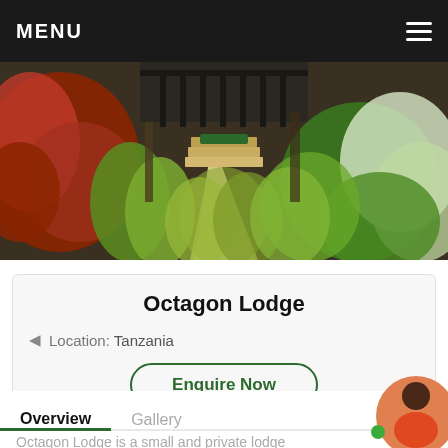MENU
[Figure (photo): Exterior entrance of Octagon Lodge with lush garden plants, reddish foliage on the left, grass-like plants in center, and green shrubbery on the right. A pathway leads to steps and a door in the background.]
Octagon Lodge
Location: Tanzania
Enquire Now
Overview
Gallery
Octagon Lodge is a small and private lodge